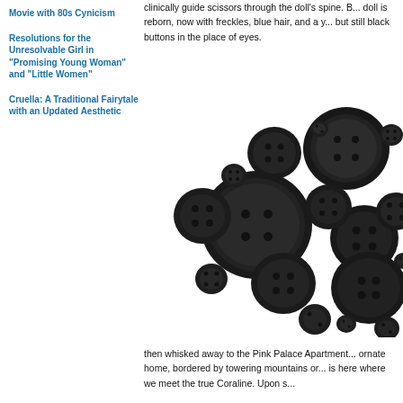Movie with 80s Cynicism
Resolutions for the Unresolvable Girl in "Promising Young Woman" and "Little Women"
Cruella: A Traditional Fairytale with an Updated Aesthetic
clinically guide scissors through the doll’s spine. B... doll is reborn, now with freckles, blue hair, and a y... but still black buttons in the place of eyes.
[Figure (photo): A pile of black buttons of various sizes scattered on a white background, some with two holes, some with four holes.]
then whisked away to the Pink Palace Apartment... ornate home, bordered by towering mountains or... is here where we meet the true Coraline. Upon s...